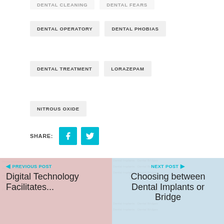DENTAL CLEANING
DENTAL FEARS
DENTAL OPERATORY
DENTAL PHOBIAS
DENTAL TREATMENT
LORAZEPAM
NITROUS OXIDE
SHARE:
[Figure (other): Facebook and Twitter social share buttons in teal/cyan]
[Figure (photo): Previous post thumbnail image with dental technology theme]
PREVIOUS POST
Digital Technology Facilitates...
[Figure (photo): Next post thumbnail image with dental implants and bridges theme]
NEXT POST
Choosing between Dental Implants or Bridge